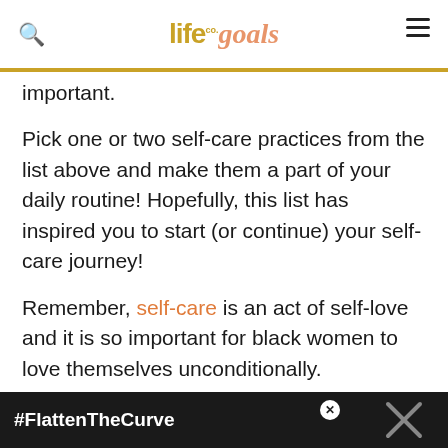life co. goals
important.
Pick one or two self-care practices from the list above and make them a part of your daily routine! Hopefully, this list has inspired you to start (or continue) your self-care journey!
Remember, self-care is an act of self-love and it is so important for black women to love themselves unconditionally.
The most important thing is to find what works for you